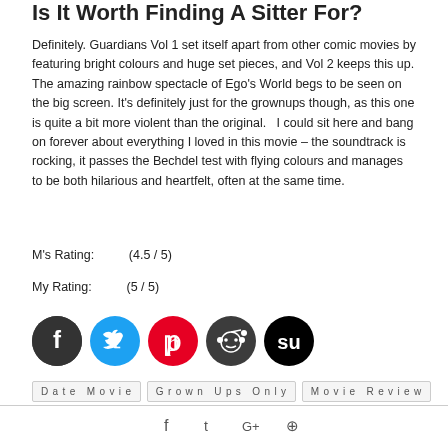Is It Worth Finding A Sitter For?
Definitely. Guardians Vol 1 set itself apart from other comic movies by featuring bright colours and huge set pieces, and Vol 2 keeps this up. The amazing rainbow spectacle of Ego's World begs to be seen on the big screen. It's definitely just for the grownups though, as this one is quite a bit more violent than the original.   I could sit here and bang on forever about everything I loved in this movie – the soundtrack is rocking, it passes the Bechdel test with flying colours and manages to be both hilarious and heartfelt, often at the same time.
M's Rating:          (4.5 / 5)
My Rating:          (5 / 5)
[Figure (other): Social sharing icons: Facebook (dark circle), Twitter (blue), Pinterest (red), Reddit (dark), StumbleUpon (black circle)]
Date Movie
Grown Ups Only
Movie Review
f  t  G+  p